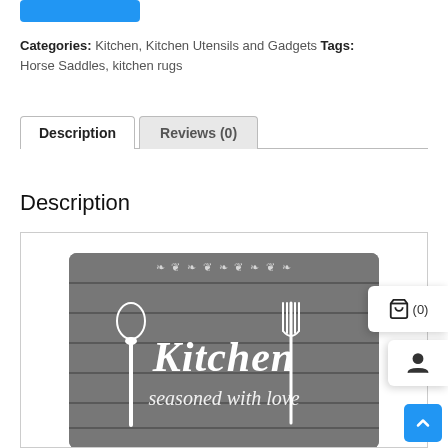Categories: Kitchen, Kitchen Utensils and Gadgets Tags: Horse Saddles, kitchen rugs
Description | Reviews (0)
Description
[Figure (photo): A rustic wooden background kitchen rug with white cursive text reading 'Kitchen seasoned with love' and silhouettes of a spoon on the left and fork on the right, with decorative scrollwork border at the top.]